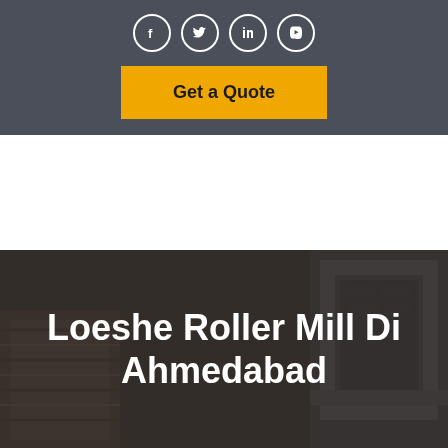[Figure (other): Social media icons row: Facebook, Twitter, LinkedIn, YouTube — white circle outlines on dark gray background]
[Figure (other): Yellow 'Get a Quote' button on dark gray header bar]
Loeshe Roller Mill Di Ahmedabad